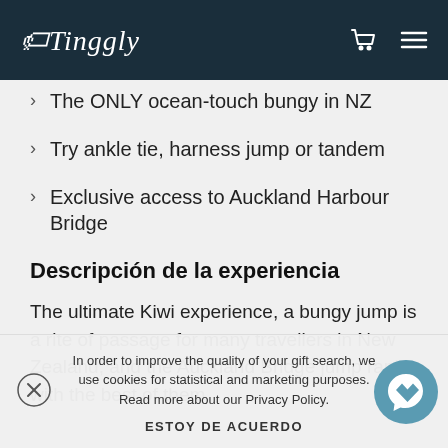Tinggly
The ONLY ocean-touch bungy in NZ
Try ankle tie, harness jump or tandem
Exclusive access to Auckland Harbour Bridge
Descripción de la experiencia
The ultimate Kiwi experience, a bungy jump is a rite of passage for many travellers in New Zealand, and the Auckland Bridge jump ranks with the best of them
In order to improve the quality of your gift search, we use cookies for statistical and marketing purposes. Read more about our Privacy Policy.
ESTOY DE ACUERDO